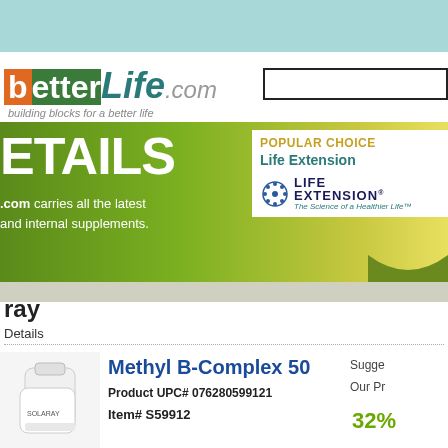[Figure (screenshot): BetterLife.com website header with teal top bar, logo, search box, green gradient banner with DETAILS text, and Life Extension brand section]
betterLife.com — building blocks for a better life
POPULAR CHOICE
Life Extension
LIFE EXTENSION — The Science of a Healthier Life
DETAILS
.com carries all the latest and internal supplements.
ray
Details
Methyl B-Complex 50
Product UPC# 076280599121
Item# S59912
Sugge
Our Pr
32%